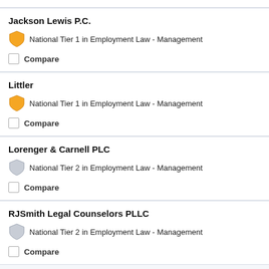Jackson Lewis P.C. — National Tier 1 in Employment Law - Management
Littler — National Tier 1 in Employment Law - Management
Lorenger & Carnell PLC — National Tier 2 in Employment Law - Management
RJSmith Legal Counselors PLLC — National Tier 2 in Employment Law - Management